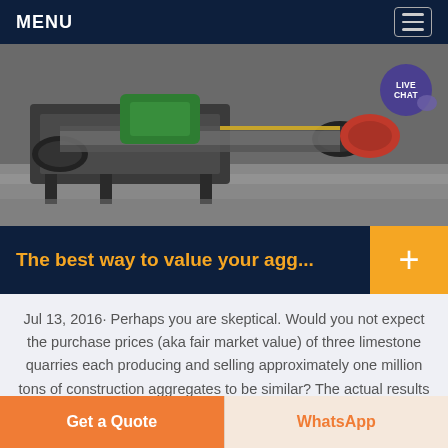MENU
[Figure (photo): Industrial mining/quarry machinery — conveyor belt roller equipment in a factory setting. A LIVE CHAT speech bubble is overlaid in the top-right corner.]
The best way to value your agg...
Jul 13, 2016· Perhaps you are skeptical. Would you not expect the purchase prices (aka fair market value) of three limestone quarries each producing and selling approximately one million tons of construction aggregates to be similar? The actual results may surprise you. The individual quarry values shown in Figure 1